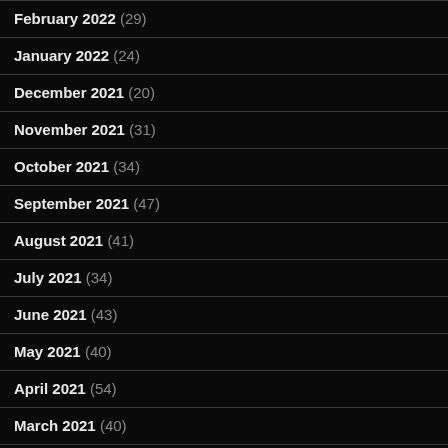February 2022 (29)
January 2022 (24)
December 2021 (20)
November 2021 (31)
October 2021 (34)
September 2021 (47)
August 2021 (41)
July 2021 (34)
June 2021 (43)
May 2021 (40)
April 2021 (54)
March 2021 (40)
February 2021 (57)